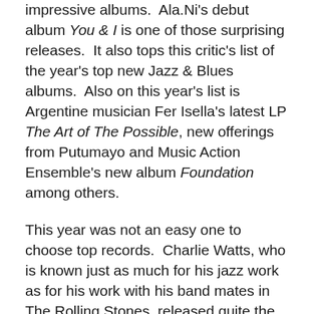impressive albums.  Ala.Ni's debut album You & I is one of those surprising releases.  It also tops this critic's list of the year's top new Jazz & Blues albums.  Also on this year's list is Argentine musician Fer Isella's latest LP The Art of The Possible, new offerings from Putumayo and Music Action Ensemble's new album Foundation among others.
This year was not an easy one to choose top records.  Charlie Watts, who is known just as much for his jazz work as for his work with his band mates in The Rolling Stones, released quite the impressive new offering this year in Charlie Watts Meets The Danish Radio Big Band. Taj Mahal and Keb Mo partnered for the simply titled TajMo.  Even veteran blues man John Mayall is still going strong.  He released his new album Talk About That this year, too.  Back on the jazz side, Charles Lloyd and his new group of